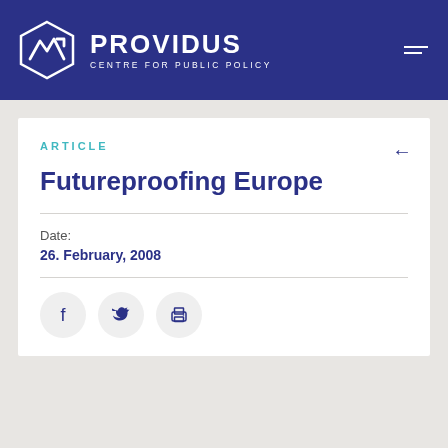PROVIDUS — CENTRE FOR PUBLIC POLICY
ARTICLE
Futureproofing Europe
Date: 26. February, 2008
[Figure (other): Social sharing icons: Facebook, Twitter, Print]